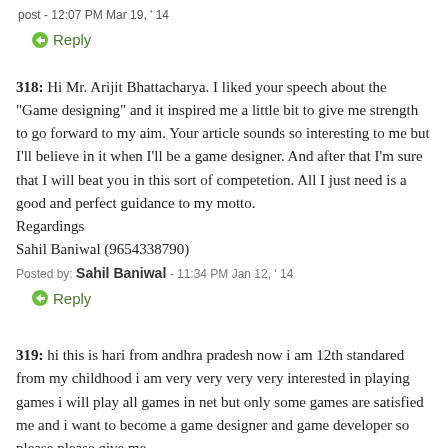post - 12:07 PM Mar 19, ' 14
Reply
318: Hi Mr. Arijit Bhattacharya. I liked your speech about the "Game designing" and it inspired me a little bit to give me strength to go forward to my aim. Your article sounds so interesting to me but I'll believe in it when I'll be a game designer. And after that I'm sure that I will beat you in this sort of competetion. All I just need is a good and perfect guidance to my motto.
Regardings
Sahil Baniwal (9654338790)
Posted by: Sahil Baniwal - 11:34 PM Jan 12, ' 14
Reply
319: hi this is hari from andhra pradesh now i am 12th standared from my childhood i am very very very very interested in playing games i will play all games in net but only some games are satisfied me and i want to become a game designer and game developer so please please give me